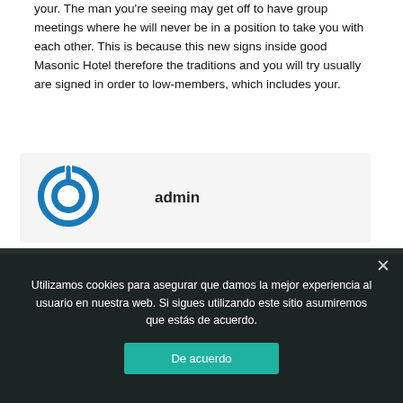your. The man you're seeing may get off to have group meetings where he will never be in a position to take you with each other. This is because this new signs inside good Masonic Hotel therefore the traditions and you will try usually are signed in order to low-members, which includes your.
[Figure (logo): Blue circular power button icon (author avatar)]
admin
[Figure (other): Teal/dark teal footer background area with decorative diagonal lines]
Utilizamos cookies para asegurar que damos la mejor experiencia al usuario en nuestra web. Si sigues utilizando este sitio asumiremos que estás de acuerdo.
De acuerdo